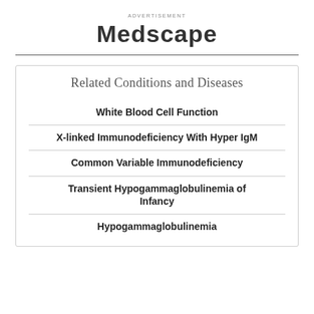ADVERTISEMENT
Medscape
Related Conditions and Diseases
White Blood Cell Function
X-linked Immunodeficiency With Hyper IgM
Common Variable Immunodeficiency
Transient Hypogammaglobulinemia of Infancy
Hypogammaglobulinemia